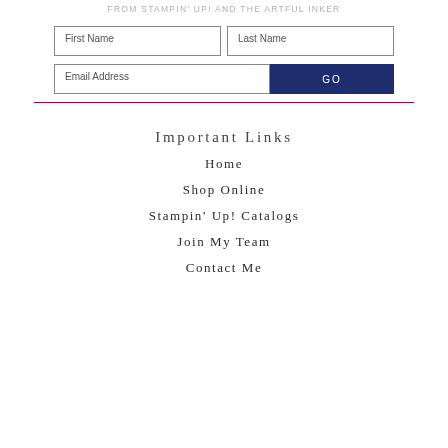FROM STAMPIN' UP! AND THE ARTFUL INKER
First Name | Last Name | Email Address | GO
Important Links
Home
Shop Online
Stampin' Up! Catalogs
Join My Team
Contact Me